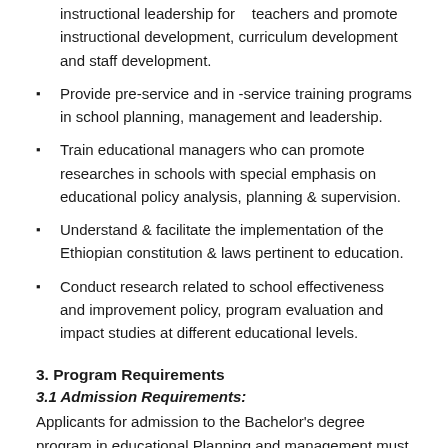instructional leadership for teachers and promote instructional development, curriculum development and staff development.
Provide pre-service and in -service training programs in school planning, management and leadership.
Train educational managers who can promote researches in schools with special emphasis on educational policy analysis, planning & supervision.
Understand & facilitate the implementation of the Ethiopian constitution & laws pertinent to education.
Conduct research related to school effectiveness and improvement policy, program evaluation and impact studies at different educational levels.
3. Program Requirements
3.1 Admission Requirements:
Applicants for admission to the Bachelor's degree program in educational Planning and management must satisfy the following criteria: